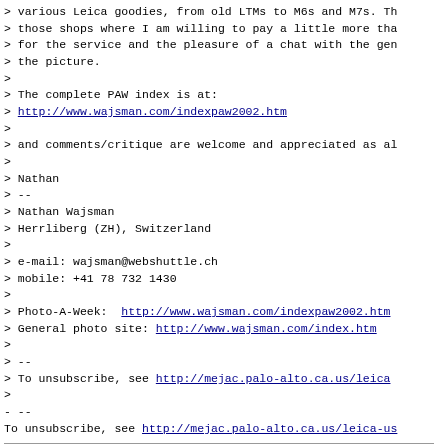> various Leica goodies, from old LTMs to M6s and M7s. Th
> those shops where I am willing to pay a little more tha
> for the service and the pleasure of a chat with the ge
> the picture.
>
> The complete PAW index is at:
> http://www.wajsman.com/indexpaw2002.htm
>
> and comments/critique are welcome and appreciated as a
>
> Nathan
> --
> Nathan Wajsman
> Herrliberg (ZH), Switzerland
>
> e-mail: wajsman@webshuttle.ch
> mobile: +41 78 732 1430
>
> Photo-A-Week: http://www.wajsman.com/indexpaw2002.htm
> General photo site: http://www.wajsman.com/index.htm
>
> --
> To unsubscribe, see http://mejac.palo-alto.ca.us/leica
>
- --
To unsubscribe, see http://mejac.palo-alto.ca.us/leica-us
Replies: Reply from "Greg J. Lorenzo" <gregj.lorenzo@shaw.ca> (Re:
[Leica] Nathan's PAW 47: I got my 21mm lens!)